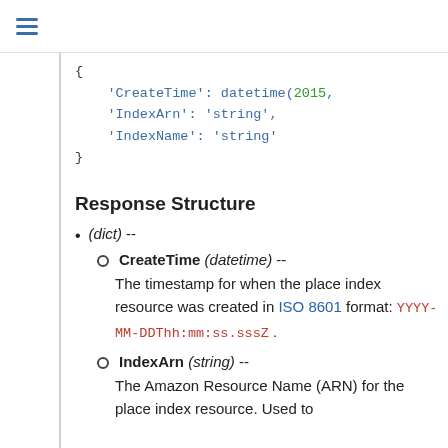{
    'CreateTime': datetime(2015,
    'IndexArn': 'string',
    'IndexName': 'string'
}
Response Structure
(dict) --
CreateTime (datetime) --
The timestamp for when the place index resource was created in ISO 8601 format: YYYY-MM-DDThh:mm:ss.sssZ .
IndexArn (string) --
The Amazon Resource Name (ARN) for the place index resource. Used to